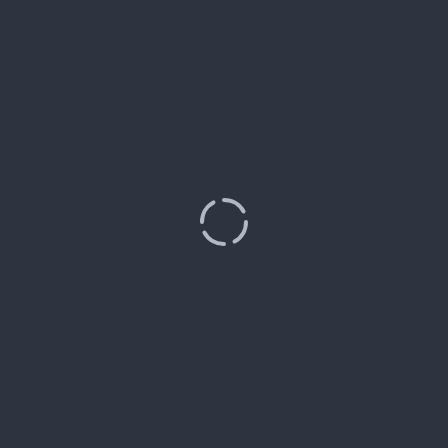[Figure (other): A loading spinner icon centered on a dark blue-gray background (#2d3440). The spinner consists of four arc segments arranged in a circle, rendered in light gray/silver color, with gaps between each arc suggesting rotation.]